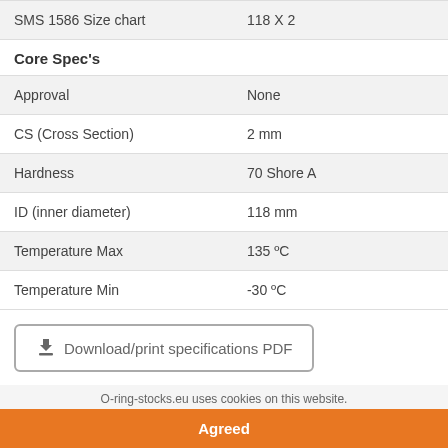| Property | Value |
| --- | --- |
| SMS 1586 Size chart | 118 X 2 |
Core Spec's
| Property | Value |
| --- | --- |
| Approval | None |
| CS (Cross Section) | 2 mm |
| Hardness | 70 Shore A |
| ID (inner diameter) | 118 mm |
| Temperature Max | 135 ºC |
| Temperature Min | -30 ºC |
Download/print specifications PDF
Description
O-ring-stocks.eu uses cookies on this website.
Agreed